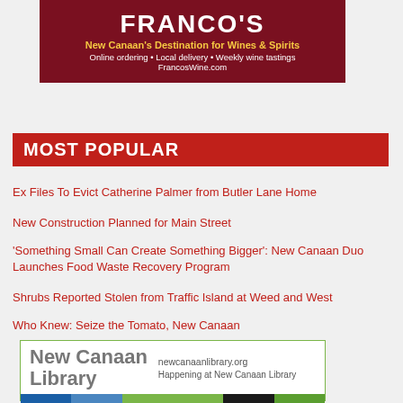[Figure (illustration): Franco's Wine advertisement banner. Dark red/maroon background with Franco's logo, tagline 'New Canaan's Destination for Wines & Spirits', subtext 'Online ordering • Local delivery • Weekly wine tastings', and URL 'FrancosWine.com']
MOST POPULAR
Ex Files To Evict Catherine Palmer from Butler Lane Home
New Construction Planned for Main Street
'Something Small Can Create Something Bigger': New Canaan Duo Launches Food Waste Recovery Program
Shrubs Reported Stolen from Traffic Island at Weed and West
Who Knew: Seize the Tomato, New Canaan
[Figure (illustration): New Canaan Library advertisement. White box with green border. Shows 'New Canaan Library' in large gray bold text, 'newcanaanlibrary.org' and 'Happening at New Canaan Library' text on the right. Bottom has colored stripes in blue, green, and dark colors.]